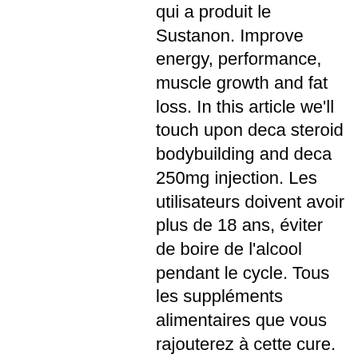qui a produit le Sustanon. Improve energy, performance, muscle growth and fat loss. In this article we'll touch upon deca steroid bodybuilding and deca 250mg injection. Les utilisateurs doivent avoir plus de 18 ans, éviter de boire de l'alcool pendant le cycle. Tous les suppléments alimentaires que vous rajouterez à cette cure. Le dianabol peut être divisé en 3 prises sur toute la journée soit 10mg matin, midi et soir, après les repas (30mg au total). Le sustanon et le deca durabolin (. 4 sustanon 250 and deca durabolin cycle; 3. 5 sustanon 250 and. Once a staple in just about any professional bulking steroid stack, deca durabolin is rarely used these days. Le nandrolone décanoate est un des stéroïdes injectables les plus populaires au monde. La nandrolone est connue pour être un stéroïde très anabolisant et. Serum bioavailable testosterone : assayed or calculated? clin chem 2006 ; 52 : 474-81.